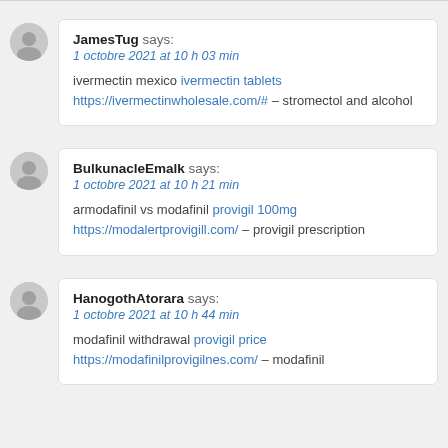JamesTug says: 1 octobre 2021 at 10 h 03 min — ivermectin mexico ivermectin tablets https://ivermectinwholesale.com/# – stromectol and alcohol
BulkunacleEmalk says: 1 octobre 2021 at 10 h 21 min — armodafinil vs modafinil provigil 100mg https://modalertprovigill.com/ – provigil prescription
HanogothAtorara says: 1 octobre 2021 at 10 h 44 min — modafinil withdrawal provigil price https://modafinilprovigilnes.com/ – modafinil